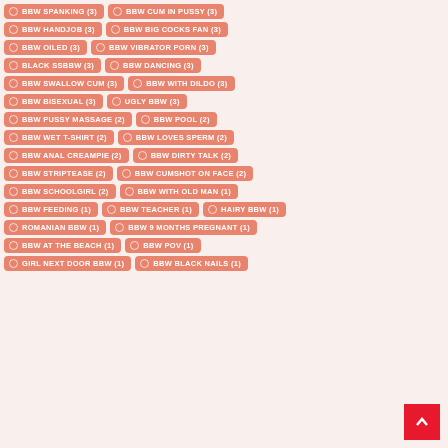BBW SPANKING (3)
BBW CUM IN PUSSY (3)
BBW HANDJOB (3)
BBW BIG COCKS FAN (3)
BBW OILED (3)
BBW VIBRATOR PORN (3)
BLACK SSBBW (3)
BBW DANCING (3)
BBW SWALLOW CUM (3)
BBW WITH DILDO (3)
BBW BISEXUAL (3)
UGLY BBW (3)
BBW PUSSY MASSAGE (2)
BBW POOL (2)
BBW WET T-SHIRT (2)
BBW LOVES SPERM (2)
BBW ANAL CREAMPIE (2)
BBW DIRTY TALK (2)
BBW STRIPTEASE (2)
BBW CUMSHOT ON FACE (2)
BBW SCHOOLGIRL (2)
BBW WITH OLD MAN (1)
BBW FEEDING (1)
BBW TEACHER (1)
HAIRY BBW (1)
ROMANIAN BBW (1)
BBW 9 MONTHS PREGNANT (1)
BBW AT THE BEACH (1)
BBW POV (1)
GIRL NEXT DOOR BBW (1)
BBW BLACK NAILS (1)